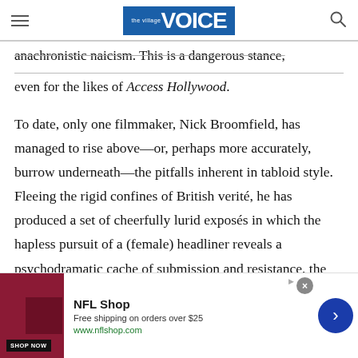the village VOICE
anachronistic naicism. This is a dangerous stance, even for the likes of Access Hollywood.
To date, only one filmmaker, Nick Broomfield, has managed to rise above—or, perhaps more accurately, burrow underneath—the pitfalls inherent in tabloid style. Fleeing the rigid confines of British verité, he has produced a set of cheerfully lurid exposés in which the hapless pursuit of a (female) headliner reveals a psychodramatic cache of submission and resistance, the unconscious law
[Figure (other): NFL Shop advertisement banner with red product image, shop now button, NFL Shop brand name, free shipping offer text, website URL, close button, and blue arrow navigation button]